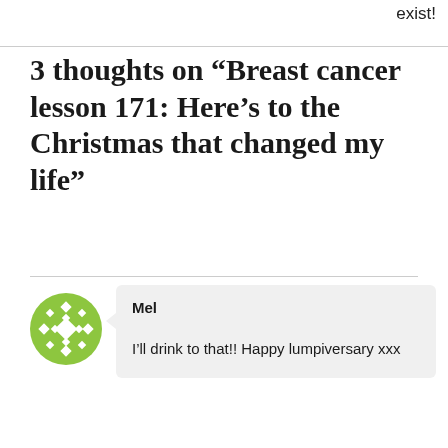exist!
3 thoughts on “Breast cancer lesson 171: Here’s to the Christmas that changed my life”
Mel

I’ll drink to that!! Happy lumpiversary xxx